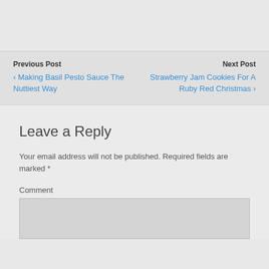Previous Post
‹ Making Basil Pesto Sauce The Nuttiest Way
Next Post
Strawberry Jam Cookies For A Ruby Red Christmas ›
Leave a Reply
Your email address will not be published. Required fields are marked *
Comment